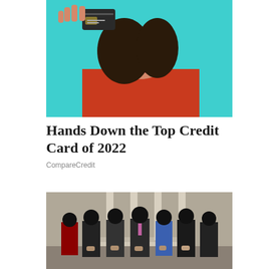[Figure (photo): Woman in red turtleneck sweater holding a dark credit card up near her face, teal background]
Hands Down the Top Credit Card of 2022
CompareCredit
[Figure (photo): Group of formally dressed people standing in front of a building, faces obscured/blurred]